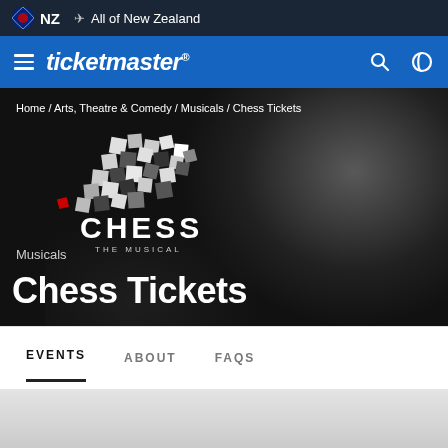NZ  All of New Zealand
ticketmaster®
Home / Arts, Theatre & Comedy / Musicals / Chess Tickets
[Figure (logo): Chess The Musical logo — scattered black and white chess pieces forming a shape above the text CHESS THE MUSICAL in white letters on dark background]
Musicals
Chess Tickets
EVENTS   ABOUT   FAQS